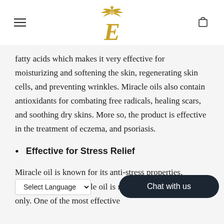[Logo: E with palm tree] Navigation header with hamburger menu and cart icon
fatty acids which makes it very effective for moisturizing and softening the skin, regenerating skin cells, and preventing wrinkles. Miracle oils also contain antioxidants for combating free radicals, healing scars, and soothing dry skins. More so, the product is effective in the treatment of eczema, and psoriasis.
Effective for Stress Relief
Miracle oil is known for its anti-stress properties. Massaging with miracle oil is not limited to your scalp only. One of the most effective